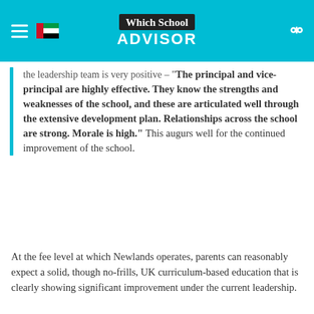Which School ADVISOR
the leadership team is very positive – "The principal and vice-principal are highly effective. They know the strengths and weaknesses of the school, and these are articulated well through the extensive development plan. Relationships across the school are strong. Morale is high." This augurs well for the continued improvement of the school.
At the fee level at which Newlands operates, parents can reasonably expect a solid, though no-frills, UK curriculum-based education that is clearly showing significant improvement under the current leadership.
What about the Fees?